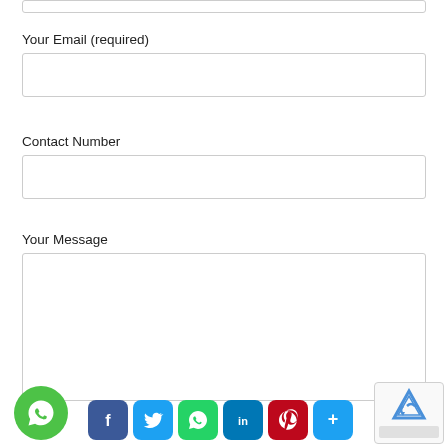Your Email (required)
Contact Number
Your Message
[Figure (screenshot): Contact form with email, contact number, and message fields, plus WhatsApp float button, social sharing icons (Facebook, Twitter, WhatsApp, LinkedIn, Pinterest, More), and reCAPTCHA badge]